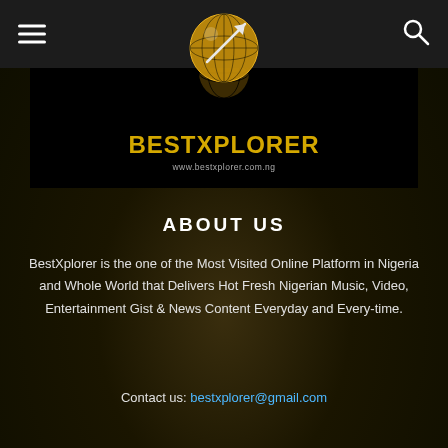Navigation header with hamburger menu, BestXplorer logo, and search icon
[Figure (logo): BestXplorer logo: golden globe with arrow, gold text BESTXPLORER, subtitle www.bestxplorer.com.ng on black background]
ABOUT US
BestXplorer is the one of the Most Visited Online Platform in Nigeria and Whole World that Delivers Hot Fresh Nigerian Music, Video, Entertainment Gist & News Content Everyday and Every-time.
Contact us: bestxplorer@gmail.com